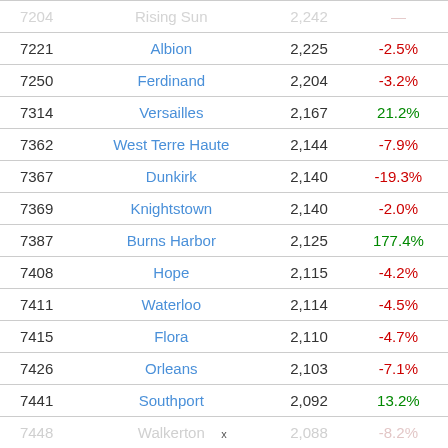| Rank | City | Population | Change |
| --- | --- | --- | --- |
| 7221 | Albion | 2,225 | -2.5% |
| 7250 | Ferdinand | 2,204 | -3.2% |
| 7314 | Versailles | 2,167 | 21.2% |
| 7362 | West Terre Haute | 2,144 | -7.9% |
| 7367 | Dunkirk | 2,140 | -19.3% |
| 7369 | Knightstown | 2,140 | -2.0% |
| 7387 | Burns Harbor | 2,125 | 177.4% |
| 7408 | Hope | 2,115 | -4.2% |
| 7411 | Waterloo | 2,114 | -4.5% |
| 7415 | Flora | 2,110 | -4.7% |
| 7426 | Orleans | 2,103 | -7.1% |
| 7441 | Southport | 2,092 | 13.2% |
| 7448 | Walkerton | 2,088 | -8.2% |
x